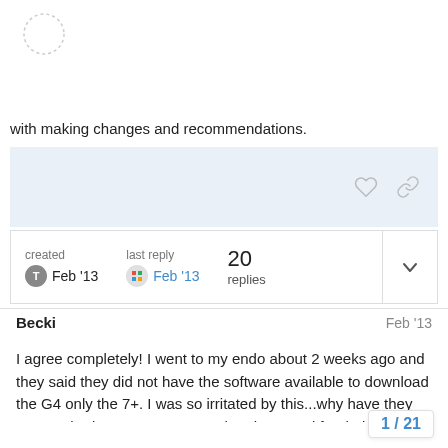[Figure (logo): Dotted circle avatar placeholder at top left]
with making changes and recommendations.
created Feb '13   last reply Feb '13   20 replies
Becki   Feb '13
I agree completely! I went to my endo about 2 weeks ago and they said they did not have the software available to download the G4 only the 7+. I was so irritated by this...why have they not reached out to Dex to get what they need for their patients and why has Dex not come in to them, I know the reps would be all about getting them software as this would lead to more scrips and therefore more sales. I do not write do really bad I know but I just can't be bothere
1 / 21